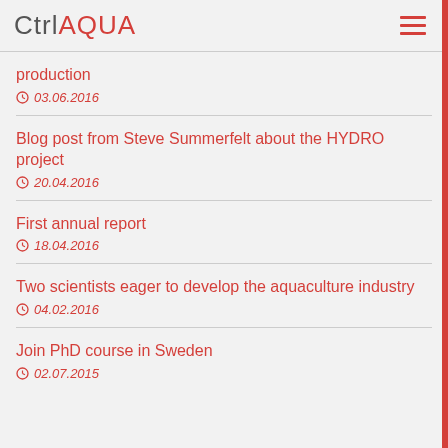CtrlAQUA
production
03.06.2016
Blog post from Steve Summerfelt about the HYDRO project
20.04.2016
First annual report
18.04.2016
Two scientists eager to develop the aquaculture industry
04.02.2016
Join PhD course in Sweden
02.07.2015